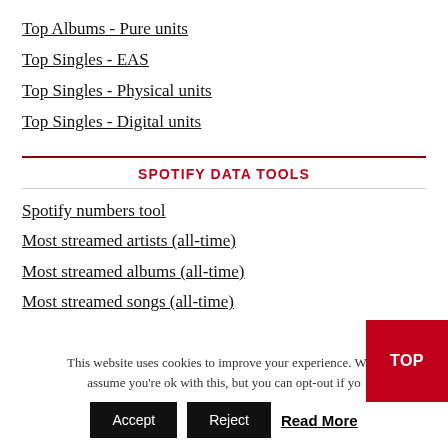Top Albums - Pure units
Top Singles - EAS
Top Singles - Physical units
Top Singles - Digital units
SPOTIFY DATA TOOLS
Spotify numbers tool
Most streamed artists (all-time)
Most streamed albums (all-time)
Most streamed songs (all-time)
Artist spotlight: global impact
This website uses cookies to improve your experience. We'll assume you're ok with this, but you can opt-out if yo
Accept  Reject  Read More